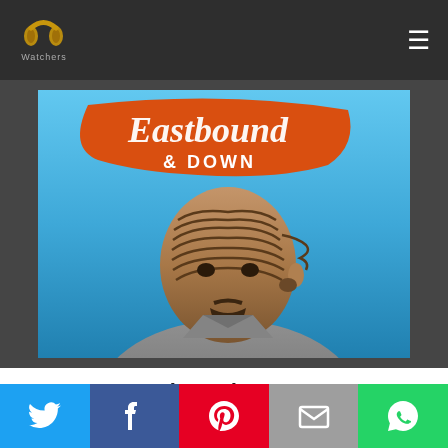[Figure (logo): PP Watchers logo — two golden headphone/earmuff shapes above text 'Watchers' in gray]
[Figure (photo): Eastbound & Down TV show promotional poster. Blue background with orange script logo 'Eastbound & Down' at top and a man with cornrow braids wearing a gray jacket looking stern.]
Eastbound & Down
[Figure (infographic): Social sharing bar with five buttons: Twitter (blue bird), Facebook (blue f), Pinterest (red P), Email (gray envelope), WhatsApp (green phone)]